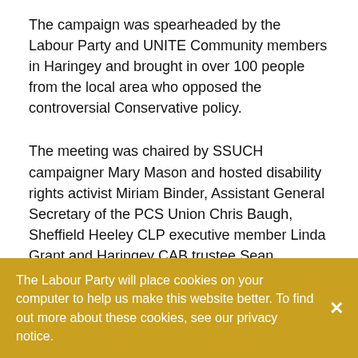The campaign was spearheaded by the Labour Party and UNITE Community members in Haringey and brought in over 100 people from the local area who opposed the controversial Conservative policy.
The meeting was chaired by SSUCH campaigner Mary Mason and hosted disability rights activist Miriam Binder, Assistant General Secretary of the PCS Union Chris Baugh, Sheffield Heeley CLP executive member Linda Grant and Haringey CAB trustee Sean O'Donovan. Catherine West, MP for Hornsey and Wood Green also joined the panel.
The speakers outlined the two objectives of the campaign. On the one hand, they aim to stop the policy being implemented at the national level. Alking with similar
The Labour Party will place cookies on your computer to help us make this website better. To find out more about these cookies, see our privacy notice.